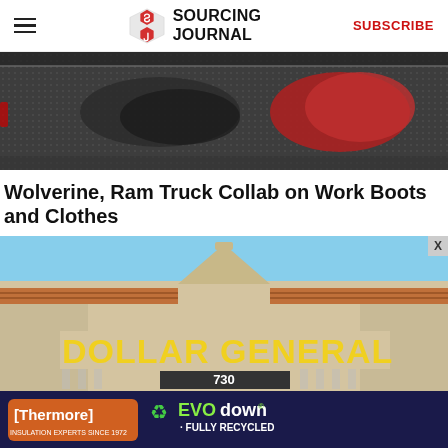≡  SOURCING JOURNAL  SUBSCRIBE
[Figure (photo): Close-up of work boots and clothing items on a truck bed liner, dark grey rubber mat with red garment visible]
Wolverine, Ram Truck Collab on Work Boots and Clothes
[Figure (photo): Exterior of a Dollar General store with yellow sign reading 'DOLLAR GENERAL' and address number 730, tan stucco building with terracotta tile roof, blue sky background]
[Figure (photo): Advertisement banner: Thermore INSULATION EXPERTS SINCE 1972, EVO down FULLY RECYCLED, dark navy background with green and white text]